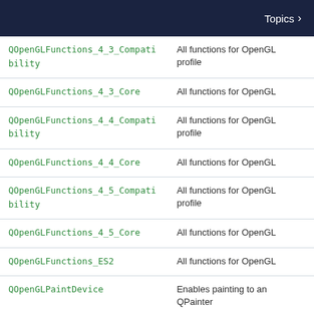Topics >
| Class | Description |
| --- | --- |
| QOpenGLFunctions_4_3_Compatibility | All functions for OpenGL profile |
| QOpenGLFunctions_4_3_Core | All functions for OpenGL |
| QOpenGLFunctions_4_4_Compatibility | All functions for OpenGL profile |
| QOpenGLFunctions_4_4_Core | All functions for OpenGL |
| QOpenGLFunctions_4_5_Compatibility | All functions for OpenGL profile |
| QOpenGLFunctions_4_5_Core | All functions for OpenGL |
| QOpenGLFunctions_ES2 | All functions for OpenGL |
| QOpenGLPaintDevice | Enables painting to an QPainter |
| QOpenGLPixelTransferOptions | Describes the pixel sto the unpacking of pixels |
| QOpenGLShader | Allows OpenGL shader |
| QOpenGLShaderProgram | Allows OpenGL shader and used |